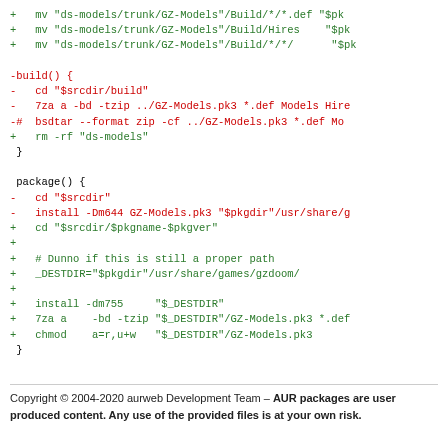Code diff showing build and package function changes in a shell script (PKGBUILD)
Copyright © 2004-2020 aurweb Development Team – AUR packages are user produced content. Any use of the provided files is at your own risk.